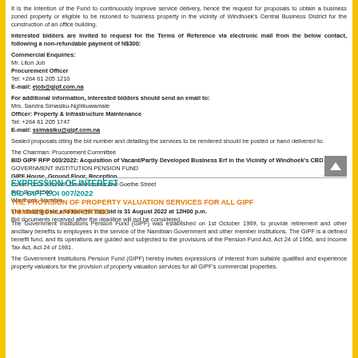It is the intention of the Fund to continuously improve service delivery, hence the request for proposals to obtain a business zoned property or eligible to be rezoned to business property in the vicinity of Windhoek's Central Business District for the construction of an office building.
Interested bidders are invited to request for the Terms of Reference via electronic mail from the below contact, following a non-refundable payment of N$300:
Commercial Enquiries:
Mr. Liton Job
Procurement Officer
Tel: +264 61 205 1210
E-mail: ejob@gipf.com.na
For additional information, interested bidders should send an email to:
Mrs. Sandra Simasiku-Nghikuwamale
Officer: Property & Infrastructure Maintenance
Tel: +264 61 205 1747
E-mail: ssimasiku@gipf.com.na
Sealed proposals citing the bid number and detailing the services to be rendered should be posted or hand delivered to:
The Chairman: Procurement Committee
BID GIPF RFP 003/2022: Acquisition of Vacant/Partly Developed Business Erf in the Vicinity of Windhoek's CBD
GOVERNMENT INSTITUTION PENSION FUND
GIPF House, Ground Floor, Reception
Corner of Dr Kenneth David Kaunda and Goethe Street
P.O. Box 21500
Windhoek, Namibia
The closing date and time for this bid is 31 August 2022 at 12H00 p.m.
Bid documents received after the deadline will not be considered.
EXPRESSION OF INTEREST
BID GIPF EOI 007/2022
THE PROVISION OF PROPERTY VALUATION SERVICES FOR ALL GIPF COMMERCIAL PROPERTIES
The Government Institutions Pension Fund (GIPF) was established on 1st October 1989, to provide retirement and other ancillary benefits to employees in the service of the Namibian Government and other member institutions. The GIPF is a defined benefit fund, and its operations are guided and subjected to the provisions of the Pension Fund Act, Act 24 of 1956, and Income Tax Act, Act 24 of 1981.
The Government Institutions Pension Fund (GIPF) hereby invites expressions of interest from suitable qualified and experience property valuators for the provision of property valuation services for all GIPF's commercial properties.